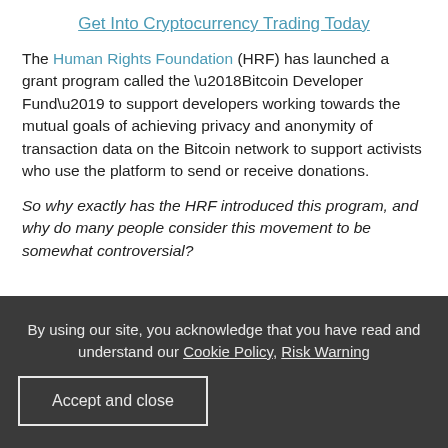Get Into Cryptocurrency Trading Today
The Human Rights Foundation (HRF) has launched a grant program called the ‘Bitcoin Developer Fund’ to support developers working towards the mutual goals of achieving privacy and anonymity of transaction data on the Bitcoin network to support activists who use the platform to send or receive donations.
So why exactly has the HRF introduced this program, and why do many people consider this movement to be somewhat controversial?
By using our site, you acknowledge that you have read and understand our Cookie Policy, Risk Warning
Accept and close